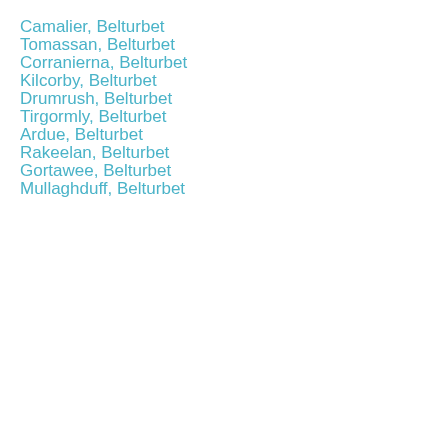Camalier, Belturbet
Tomassan, Belturbet
Corranierna, Belturbet
Kilcorby, Belturbet
Drumrush, Belturbet
Tirgormly, Belturbet
Ardue, Belturbet
Rakeelan, Belturbet
Gortawee, Belturbet
Mullaghduff, Belturbet